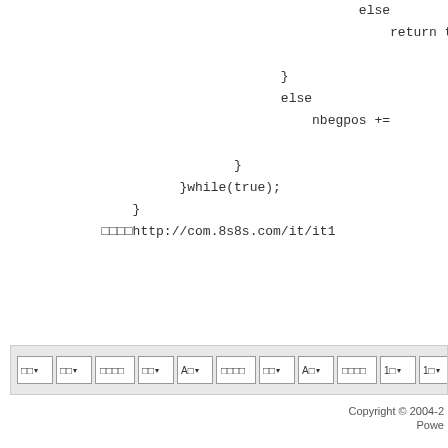else
    return t
}
else
    nbegpos +=
}
}while(true);
}
□□□□http://com.8s8s.com/it/it1
[Figure (screenshot): Toolbar with dropdown selects and buttons showing Korean/Chinese characters]
Copyright © 2004-2
Powe